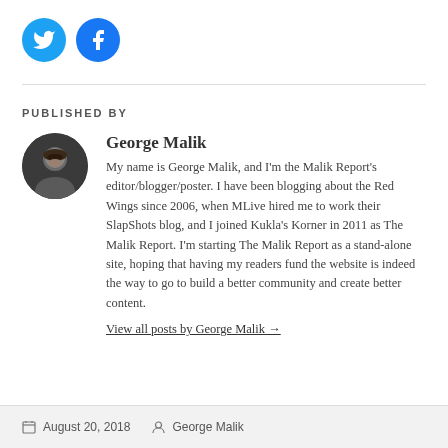[Figure (other): Two circular social media icons: Twitter (blue bird) and Facebook (blue f)]
PUBLISHED BY
[Figure (photo): Circular profile photo of George Malik, a man with a beard and cap]
George Malik
My name is George Malik, and I'm the Malik Report's editor/blogger/poster. I have been blogging about the Red Wings since 2006, when MLive hired me to work their SlapShots blog, and I joined Kukla's Korner in 2011 as The Malik Report. I'm starting The Malik Report as a stand-alone site, hoping that having my readers fund the website is indeed the way to go to build a better community and create better content.
View all posts by George Malik →
August 20, 2018   George Malik